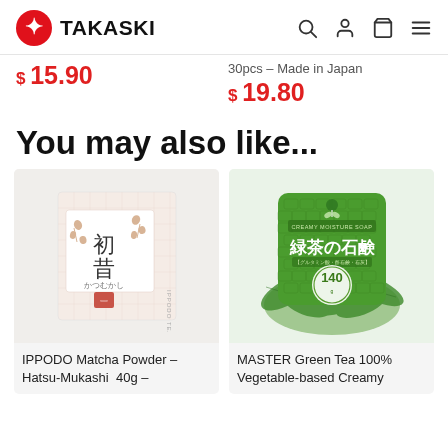TAKASKI
$ 15.90
30pcs – Made in Japan
$ 19.80
You may also like...
[Figure (photo): IPPODO TEA CO matcha powder box with Japanese calligraphy and floral design]
IPPODO Matcha Powder – Hatsu-Mukashi 40g –
[Figure (photo): MASTER Green Tea Creamy Moisture Soap (140g) green package with green tea leaves]
MASTER Green Tea 100% Vegetable-based Creamy